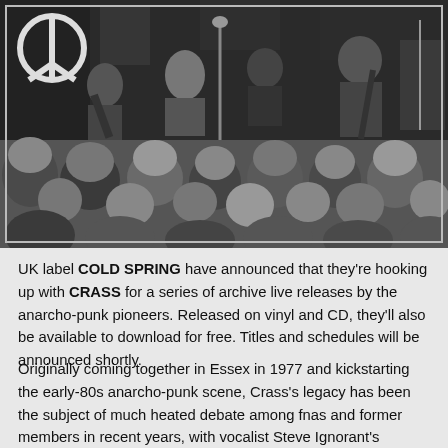[Figure (photo): Black and white photograph of a punk band performing on stage with a crowd of people in the foreground. A peace symbol is visible in the background on the left. Band members with guitars are visible on stage.]
UK label COLD SPRING have announced that they're hooking up with CRASS for a series of archive live releases by the anarcho-punk pioneers. Released on vinyl and CD, they'll also be available to download for free. Titles and schedules will be announced shortly.
Originally coming together in Essex in 1977 and kickstarting the early-80s anarcho-punk scene, Crass's legacy has been the subject of much heated debate among fnas and former members in recent years, with vocalist Steve Ignorant's decision to perform the band's Feeding Of The 5,000 live in 2007, followed by the back